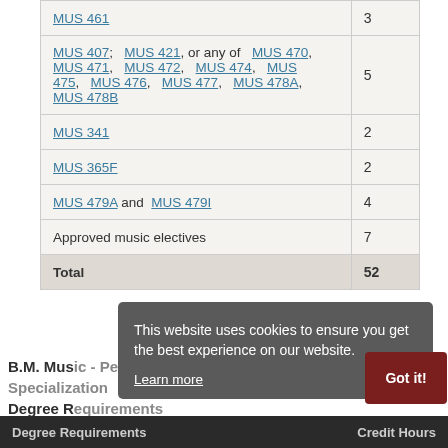| Degree Requirements | Credit Hours |
| --- | --- |
| MUS 461 | 3 |
| MUS 407; MUS 421, or any of MUS 470, MUS 471, MUS 472, MUS 474, MUS 475, MUS 476, MUS 477, MUS 478A, MUS 478B | 5 |
| MUS 341 | 2 |
| MUS 365F | 2 |
| MUS 479A and MUS 479I | 4 |
| Approved music electives | 7 |
| Total | 52 |
This website uses cookies to ensure you get the best experience on our website.
Learn more
B.M. Music - Performance, Voice Specialization Degree Requirements
Degree Requirements | Credit Hours